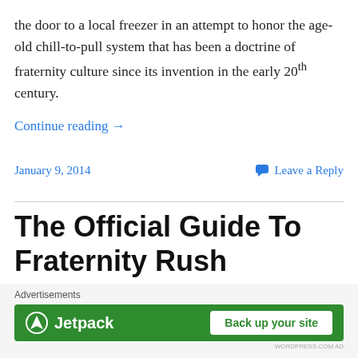the door to a local freezer in an attempt to honor the age-old chill-to-pull system that has been a doctrine of fraternity culture since its invention in the early 20th century.
Continue reading →
January 9, 2014    💬 Leave a Reply
The Official Guide To Fraternity Rush
[Figure (photo): Colorful illustrated banner image for The Official Guide To Fraternity Rush article]
Advertisements
[Figure (infographic): Jetpack advertisement banner with green background showing Jetpack logo and 'Back up your site' button]